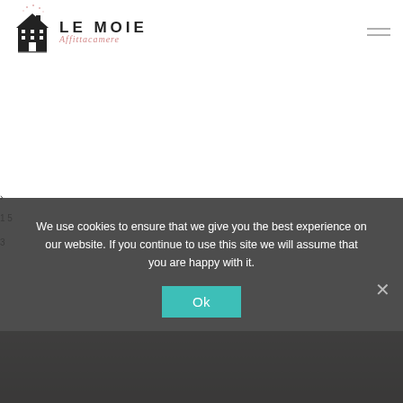[Figure (logo): Le Moie Affittacamere logo with house icon and brand name]
We use cookies to ensure that we give you the best experience on our website. If you continue to use this site we will assume that you are happy with it.
Ok